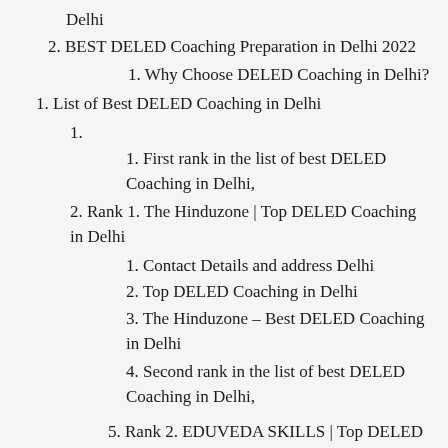Delhi
2. BEST DELED Coaching Preparation in Delhi 2022
1. Why Choose DELED Coaching in Delhi?
1. List of Best DELED Coaching in Delhi
1.
1. First rank in the list of best DELED Coaching in Delhi,
2. Rank 1. The Hinduzone | Top DELED Coaching in Delhi
1. Contact Details and address Delhi
2. Top DELED Coaching in Delhi
3. The Hinduzone – Best DELED Coaching in Delhi
4. Second rank in the list of best DELED Coaching in Delhi,
5. Rank 2. EDUVEDA SKILLS | Top DELED…